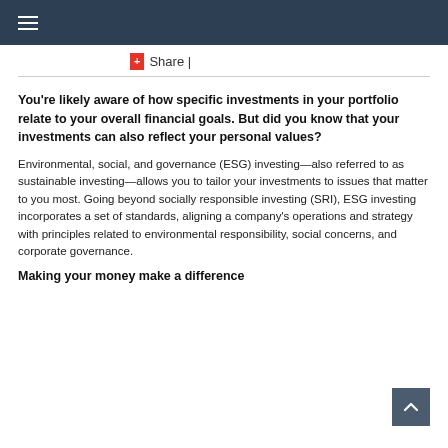Navigation bar with hamburger menu
+ Share |
You're likely aware of how specific investments in your portfolio relate to your overall financial goals. But did you know that your investments can also reflect your personal values?
Environmental, social, and governance (ESG) investing—also referred to as sustainable investing—allows you to tailor your investments to issues that matter to you most. Going beyond socially responsible investing (SRI), ESG investing incorporates a set of standards, aligning a company's operations and strategy with principles related to environmental responsibility, social concerns, and corporate governance.
Making your money make a difference